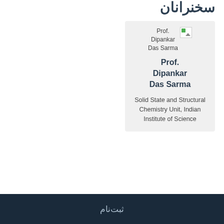سخنرانان
[Figure (other): Profile card for Prof. Dipankar Das Sarma with a broken image placeholder, bold name, and affiliation text: Solid State and Structural Chemistry Unit, Indian Institute of Science]
Prof. Dipankar Das Sarma
Solid State and Structural Chemistry Unit, Indian Institute of Science
ثبت‌نام